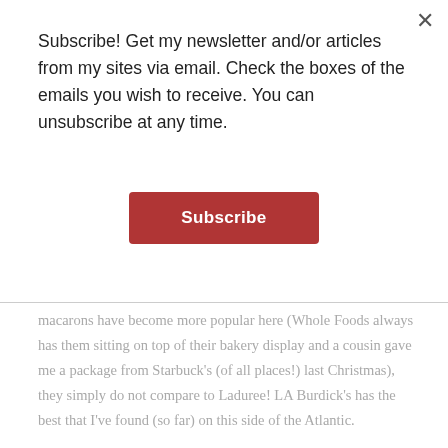Subscribe! Get my newsletter and/or articles from my sites via email. Check the boxes of the emails you wish to receive. You can unsubscribe at any time.
Subscribe
macarons have become more popular here (Whole Foods always has them sitting on top of their bakery display and a cousin gave me a package from Starbuck's (of all places!) last Christmas), they simply do not compare to Laduree! LA Burdick's has the best that I've found (so far) on this side of the Atlantic.
By the way, my 2nd favorite post would have to be the one about Pocket Espresso (and the summertime version.) Thank you for introducing me to that little addiction!
I love the blog. Buon Natale!!